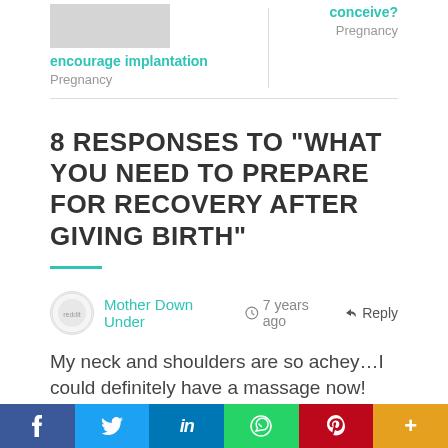encourage implantation
Pregnancy
conceive?
Pregnancy
8 RESPONSES TO “WHAT YOU NEED TO PREPARE FOR RECOVERY AFTER GIVING BIRTH”
Mother Down Under  ○ 7 years ago  ↩ Reply
My neck and shoulders are so achey…I could definitely have a massage now!